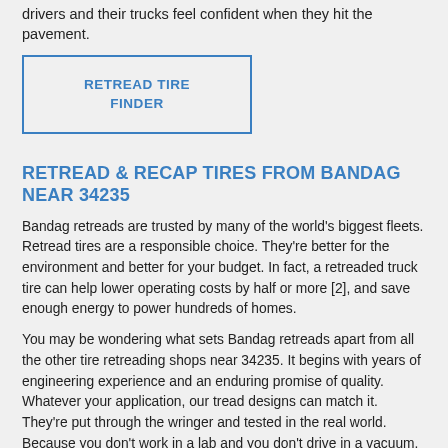drivers and their trucks feel confident when they hit the pavement.
[Figure (other): Retread Tire Finder button/link box with blue border]
RETREAD & RECAP TIRES FROM BANDAG NEAR 34235
Bandag retreads are trusted by many of the world's biggest fleets. Retread tires are a responsible choice. They're better for the environment and better for your budget. In fact, a retreaded truck tire can help lower operating costs by half or more [2], and save enough energy to power hundreds of homes.
You may be wondering what sets Bandag retreads apart from all the other tire retreading shops near 34235. It begins with years of engineering experience and an enduring promise of quality. Whatever your application, our tread designs can match it. They're put through the wringer and tested in the real world. Because you don't work in a lab and you don't drive in a vacuum. You drive on the open road, and sometimes off it, just like Bandag retreads. Our next-generation rubber is uniquely formulated to